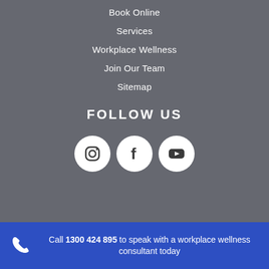Book Online
Services
Workplace Wellness
Join Our Team
Sitemap
FOLLOW US
[Figure (infographic): Three social media icons (Instagram, Facebook, YouTube) displayed as white circles on a grey background.]
Call 1300 424 895 to speak with a workplace wellness consultant today